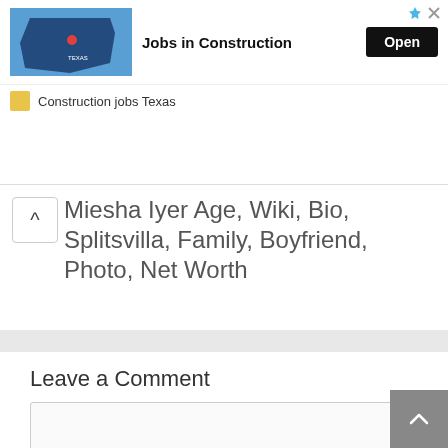[Figure (screenshot): Advertisement banner for 'Jobs in Construction' featuring a Texas map graphic, bold title text, Open button, and 'Construction jobs Texas' footer label.]
Miesha Iyer Age, Wiki, Bio, Splitsvilla, Family, Boyfriend, Photo, Net Worth
Leave a Comment